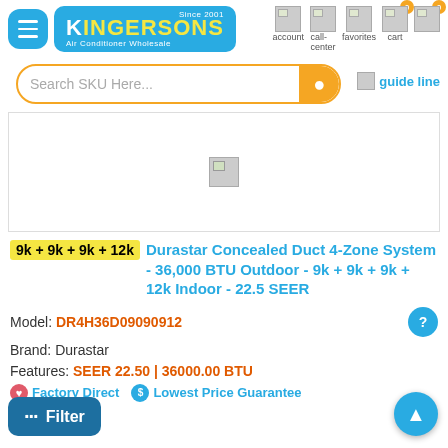[Figure (screenshot): Kingersons Air Conditioner Wholesale website header with logo, hamburger menu, navigation icons (account, call-center, favorites, cart with badges showing 0), search bar, help and guide line links]
[Figure (photo): Product image placeholder (broken/missing image icon) for Durastar Concealed Duct 4-Zone System]
9k + 9k + 9k + 12k Durastar Concealed Duct 4-Zone System - 36,000 BTU Outdoor - 9k + 9k + 9k + 12k Indoor - 22.5 SEER
Model: DR4H36D09090912
Brand: Durastar
Features: SEER 22.50 | 36000.00 BTU
Factory Direct  Lowest Price Guarantee